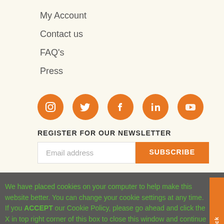My Account
Contact us
FAQ's
Press
[Figure (infographic): Row of 5 orange circular social media icons: Instagram, Twitter, Facebook, LinkedIn, YouTube]
REGISTER FOR OUR NEWSLETTER
Email address  SUBSCRIBE
We have placed cookies on your computer to help make this website better. You can change your cookie settings at any time. If you ACCEPT our Cookie Policy, please go ahead and click the X in top right corner of this box to close this window and continue using the site. To learn more about or Cookie Policy please visit our Privacy Policy page.
[Figure (logo): D-U-N-S and other brand logos at the bottom]